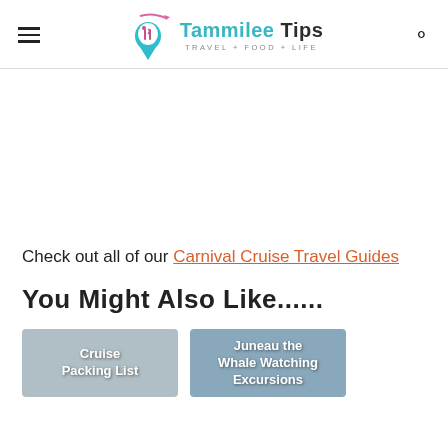Tammilee Tips - TRAVEL+FOOD+LIFE
Check out all of our Carnival Cruise Travel Guides
You Might Also Like......
[Figure (photo): Thumbnail image with text 'Cruise Packing List']
[Figure (photo): Thumbnail image with text 'Juneau the Whale Watching Excursions']